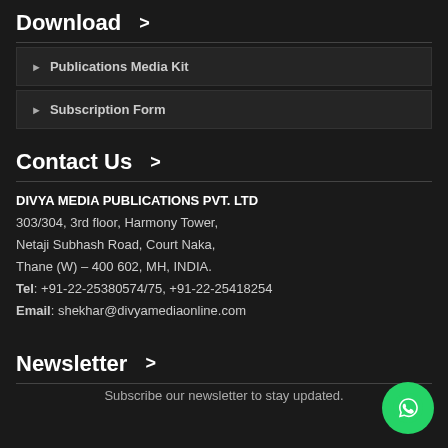Download >
Publications Media Kit
Subscription Form
Contact Us >
DIVYA MEDIA PUBLICATIONS PVT. LTD
303/304, 3rd floor, Harmony Tower,
Netaji Subhash Road, Court Naka,
Thane (W) – 400 602, MH, INDIA.
Tel: +91-22-25380574/75, +91-22-25418254
Email: shekhar@divyamediaonline.com
Newsletter >
Subscribe our newsletter to stay updated.